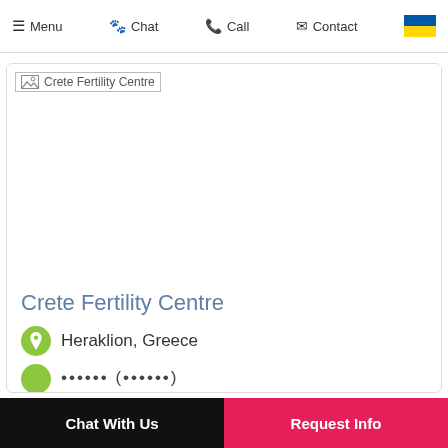Menu  Chat  Call  Contact
[Figure (photo): Crete Fertility Centre logo/image placeholder (broken image icon with alt text 'Crete Fertility Centre')]
Crete Fertility Centre
Heraklion, Greece
Chat With Us   Request Info